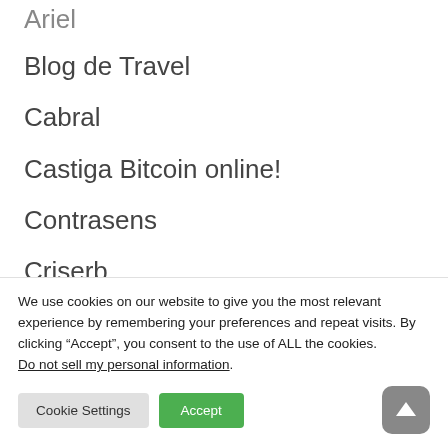Ariel
Blog de Travel
Cabral
Castiga Bitcoin online!
Contrasens
Criserb
Dana's Quilling Blog
Groapa cu Prosti
nwradu
Ovidiu Sîrb
We use cookies on our website to give you the most relevant experience by remembering your preferences and repeat visits. By clicking “Accept”, you consent to the use of ALL the cookies. Do not sell my personal information.
Cookie Settings | Accept